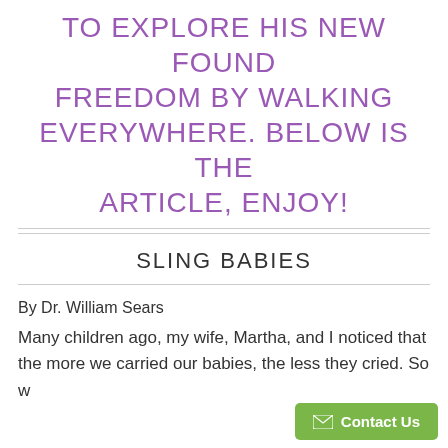TO EXPLORE HIS NEW FOUND FREEDOM BY WALKING EVERYWHERE. BELOW IS THE ARTICLE, ENJOY!
SLING BABIES
By Dr. William Sears
Many children ago, my wife, Martha, and I noticed that the more we carried our babies, the less they cried. So w